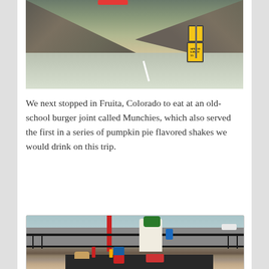[Figure (photo): A winding desert road with rocky mountains in background, a yellow speed limit sign showing 55, and a curve warning sign. A red blurred object visible at top.]
We next stopped in Fruita, Colorado to eat at an old-school burger joint called Munchies, which also served the first in a series of pumpkin pie flavored shakes we would drink on this trip.
[Figure (photo): A person wearing a green bandana and white t-shirt holding a blue cup at an outdoor patio table at Munchies burger joint. The table has a Pepsi cup, burgers in red checkered baskets, condiments, and railings in the background with a parking lot.]